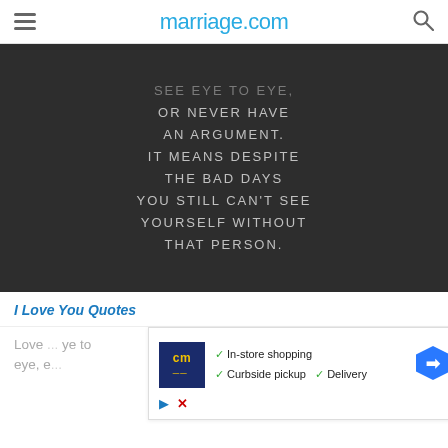marriage.com
[Figure (illustration): Dark gray background with white uppercase text quote: 'SEE EYE TO EYE, OR NEVER HAVE AN ARGUMENT. IT MEANS DESPITE THE BAD DAYS YOU STILL CAN'T SEE YOURSELF WITHOUT THAT PERSON.']
I Love You Quotes
Love ... eye to eye, e...
[Figure (infographic): Advertisement overlay: CM logo with checkmarks for In-store shopping, Curbside pickup, Delivery, and a blue navigation arrow icon. Play and close buttons at bottom.]